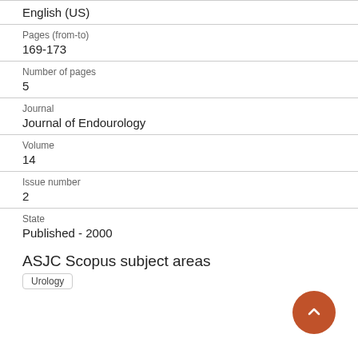English (US)
Pages (from-to)
169-173
Number of pages
5
Journal
Journal of Endourology
Volume
14
Issue number
2
State
Published - 2000
ASJC Scopus subject areas
Urology